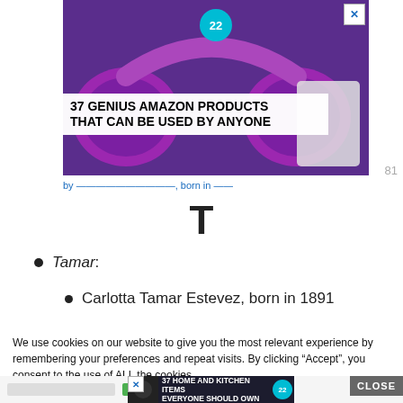[Figure (screenshot): Advertisement banner showing purple headphones with text '37 GENIUS AMAZON PRODUCTS THAT CAN BE USED BY ANYONE' and a teal badge with '22'. An X close button in top right.]
81
T
Tamar:
Carlotta Tamar Estevez, born in 1891
We use cookies on our website to give you the most relevant experience by remembering your preferences and repeat visits. By clicking “Accept”, you consent to the use of ALL the cookies.
Do not sell my personal information.
[Figure (screenshot): Bottom advertisement showing '37 HOME AND KITCHEN ITEMS EVERYONE SHOULD OWN' with food image and teal '22' badge, and a gray CLOSE button.]